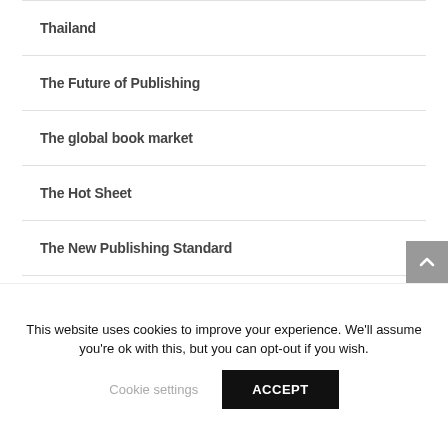Thailand
The Future of Publishing
The global book market
The Hot Sheet
The New Publishing Standard
Translations
Trinidad & Tobago
This website uses cookies to improve your experience. We'll assume you're ok with this, but you can opt-out if you wish.
Cookie settings
ACCEPT